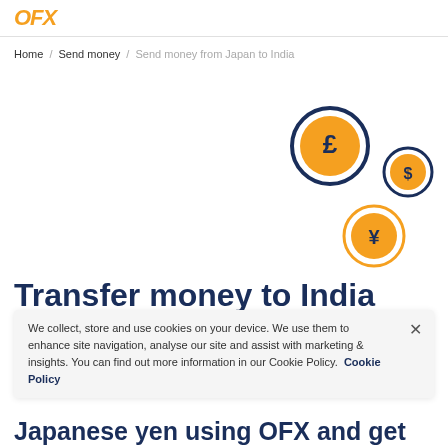OFX
Home / Send money / Send money from Japan to India
[Figure (illustration): Three currency coin icons: a large circle with a pound (£) symbol, a smaller circle with a dollar ($) symbol, and a medium circle with a yen (¥) symbol, arranged in a floating pattern on a white background.]
Transfer money to India
We collect, store and use cookies on your device. We use them to enhance site navigation, analyse our site and assist with marketing & insights. You can find out more information in our Cookie Policy. Cookie Policy
Japanese yen using OFX and get